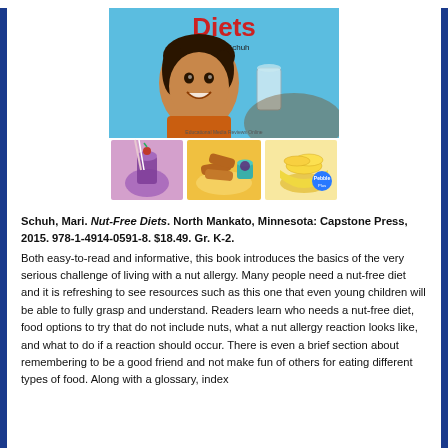[Figure (photo): Book cover of 'Nut-Free Diets' by Mari Schuh, published by Capstone Press/Pebble. Shows a smiling boy in brown shirt at top, with three food photos below: a purple smoothie drink, chicken strips with dipping sauce, and a bowl of yellow chips/crisps.]
Schuh, Mari. Nut-Free Diets. North Mankato, Minnesota: Capstone Press, 2015. 978-1-4914-0591-8. $18.49. Gr. K-2. Both easy-to-read and informative, this book introduces the basics of the very serious challenge of living with a nut allergy. Many people need a nut-free diet and it is refreshing to see resources such as this one that even young children will be able to fully grasp and understand. Readers learn who needs a nut-free diet, food options to try that do not include nuts, what a nut allergy reaction looks like, and what to do if a reaction should occur. There is even a brief section about remembering to be a good friend and not make fun of others for eating different types of food. Along with a glossary, index